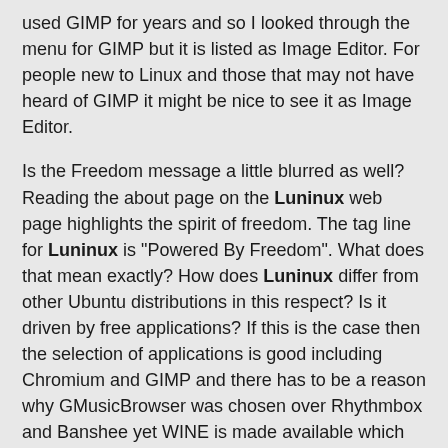used GIMP for years and so I looked through the menu for GIMP but it is listed as Image Editor. For people new to Linux and those that may not have heard of GIMP it might be nice to see it as Image Editor.
Is the Freedom message a little blurred as well? Reading the about page on the Luninux web page highlights the spirit of freedom. The tag line for Luninux is "Powered By Freedom". What does that mean exactly? How does Luninux differ from other Ubuntu distributions in this respect? Is it driven by free applications? If this is the case then the selection of applications is good including Chromium and GIMP and there has to be a reason why GMusicBrowser was chosen over Rhythmbox and Banshee yet WINE is made available which suggests running proprietary Windows applications.
From a users perspective if you have an older PC or like Gnome the way it used to be then Luninux could be just what you are looking for. I do have concerns with Luninux that the same can be achieved by installing Xubuntu or Lubuntu and I'm not sure where the gap in the